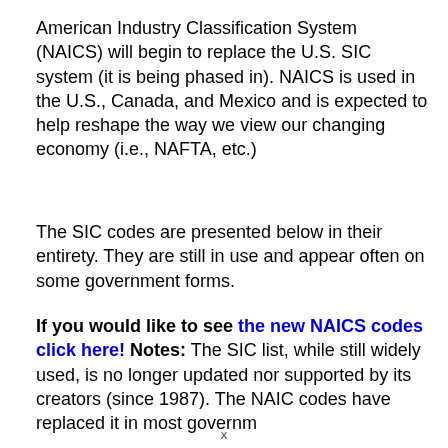American Industry Classification System (NAICS) will begin to replace the U.S. SIC system (it is being phased in). NAICS is used in the U.S., Canada, and Mexico and is expected to help reshape the way we view our changing economy (i.e., NAFTA, etc.)
The SIC codes are presented below in their entirety. They are still in use and appear often on some government forms.
If you would like to see the new NAICS codes click here! Notes: The SIC list, while still widely used, is no longer updated nor supported by its creators (since 1987). The NAIC codes have replaced it in most government...
x